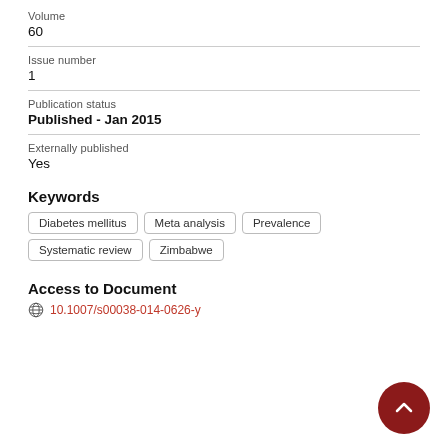Volume
60
Issue number
1
Publication status
Published - Jan 2015
Externally published
Yes
Keywords
Diabetes mellitus
Meta analysis
Prevalence
Systematic review
Zimbabwe
Access to Document
10.1007/s00038-014-0626-y